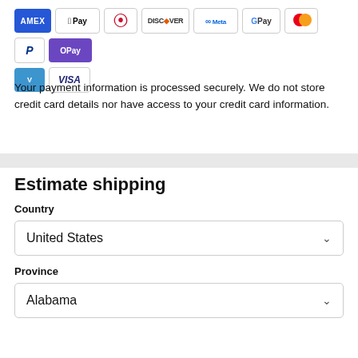[Figure (other): Row of payment method icons: AMEX, Apple Pay, Diners Club, Discover, Meta Pay, Google Pay, Mastercard, PayPal, OPay, Venmo, Visa]
Your payment information is processed securely. We do not store credit card details nor have access to your credit card information.
Estimate shipping
Country
United States
Province
Alabama